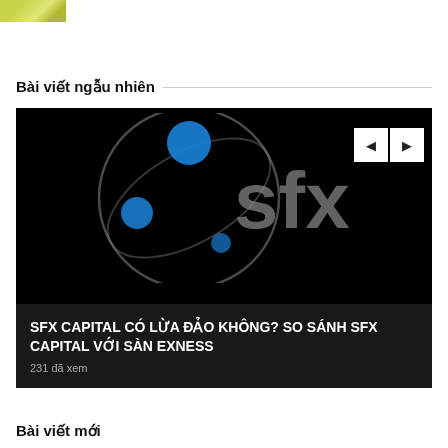[Figure (photo): Small thumbnail image with yellow-green tones at top left]
Bài viết ngẫu nhiên
[Figure (screenshot): SFX Capital logo on black background with navigation arrows, overlaid with article title and view count]
SFX CAPITAL CÓ LỪA ĐẢO KHÔNG? SO SÁNH SFX CAPITAL VỚI SÀN EXNESS
231 đã xem
Bài viết mới